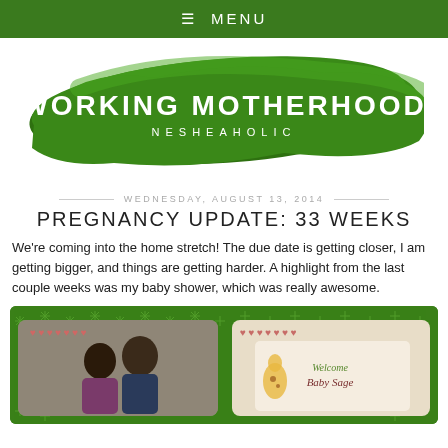≡ MENU
[Figure (logo): Working Motherhood Nesheaholic logo — white brush-stroke text 'WORKING MOTHERHOOD' and 'NESHEAHOLIC' on a dark green painted swoosh background]
WEDNESDAY, AUGUST 13, 2014
PREGNANCY UPDATE: 33 WEEKS
We're coming into the home stretch! The due date is getting closer, I am getting bigger, and things are getting harder. A highlight from the last couple weeks was my baby shower, which was really awesome.
[Figure (photo): Two side-by-side baby shower photos on a green decorative background with hearts and snowflake pattern. Left photo shows a couple (woman and man) smiling at a baby shower. Right photo shows a baby shower cake decorated with a giraffe and 'Welcome Baby Sage' text.]